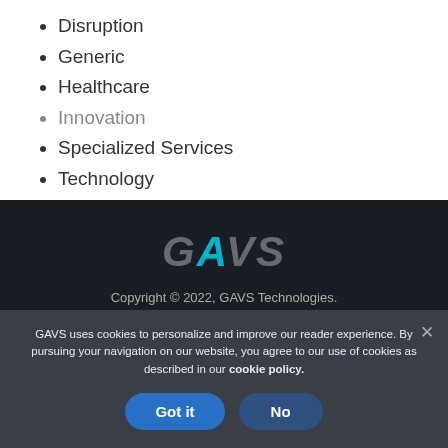Disruption
Generic
Healthcare
Innovation
Specialized Services
Technology
Trends
[Figure (logo): GAVS Technologies logo in italic bold grey text on dark background]
Copyright © 2022, GAVS Technologies.
Privacy Policy   Cookie Policy   Terms of use   Contact Us
GAVS uses cookies to personalize and improve our reader experience. By pursuing your navigation on our website, you agree to our use of cookies as described in our cookie policy.